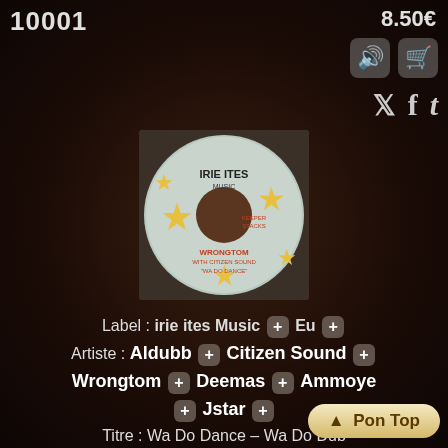10001
8.50€
[Figure (photo): Album/vinyl record cover for 'Wa Do Dance' by Wrongtom on Irie Ites Music label, showing a circular record with gold stars on light blue background]
Label : irie ites Music [+] Eu [+]
Artiste : Aldubb [+] Citizen Sound [+] Wrongtom [+] Deemas [+] Ammoye [+] Jstar [+]
Titre : Wa Do Dance – Wa Do Dub
Riddim : Wa Do Dubb [+]
Type : Reggae Hit [+]
^ Pon Top